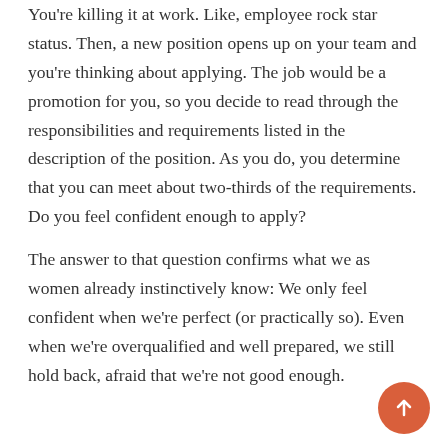You're killing it at work. Like, employee rock star status. Then, a new position opens up on your team and you're thinking about applying. The job would be a promotion for you, so you decide to read through the responsibilities and requirements listed in the description of the position. As you do, you determine that you can meet about two-thirds of the requirements. Do you feel confident enough to apply?
The answer to that question confirms what we as women already instinctively know: We only feel confident when we're perfect (or practically so). Even when we're overqualified and well prepared, we still hold back, afraid that we're not good enough.